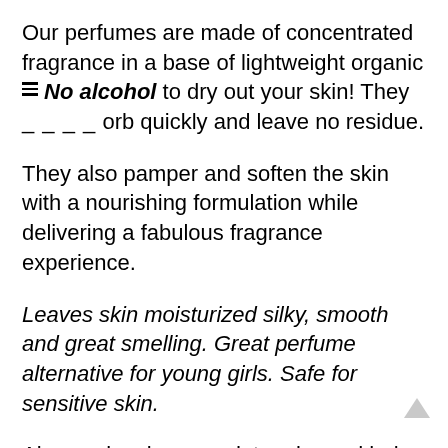Our perfumes are made of concentrated fragrance in a base of lightweight organic [hamburger icon] No alcohol to dry out your skin! They ---- orb quickly and leave no residue.
They also pamper and soften the skin with a nourishing formulation while delivering a fabulous fragrance experience.
Leaves skin moisturized silky, smooth and great smelling. Great perfume alternative for young girls. Safe for sensitive skin.
Also works also as a detangler and helps control frizz. Leaves a beautiful scent while leaving hair and skin feeling silky smooth. Spray on hair for a quick pick me up. Can be